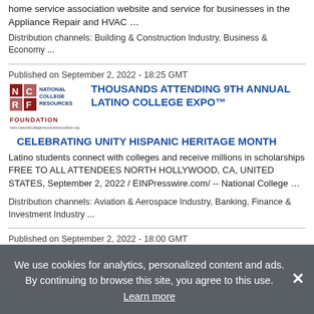home service association website and service for businesses in the Appliance Repair and HVAC …
Distribution channels: Building & Construction Industry, Business & Economy ...
Published on September 2, 2022 - 18:25 GMT
[Figure (logo): National College Resources Foundation logo]
THOUSANDS ATTENDING 9TH ANNUAL LATINO COLLEGE EXPO™ CELEBRATING UNITY HISPANIC HERITAGE MONTH
Latino students connect with colleges and receive millions in scholarships FREE TO ALL ATTENDEES NORTH HOLLYWOOD, CA, UNITED STATES, September 2, 2022 / EINPresswire.com/ -- National College …
Distribution channels: Aviation & Aerospace Industry, Banking, Finance & Investment Industry ...
Published on September 2, 2022 - 18:00 GMT
[Figure (photo): Portrait photo of a person with blonde hair and glasses]
Drywall Repair Company PatchMaster…
We use cookies for analytics, personalized content and ads. By continuing to browse this site, you agree to this use. Learn more